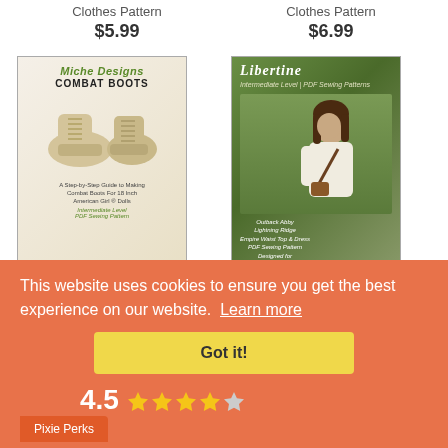Clothes Pattern $5.99
Clothes Pattern $6.99
[Figure (photo): Miche Designs Combat Boots PDF sewing pattern cover with image of cream colored boots]
[Figure (photo): Libertine magazine cover featuring a doll in white top with crossbody bag, Outback Abby Lightning Ridge pattern]
Combat Boots 18"
Lightning Ridge Top
$5.99
This website uses cookies to ensure you get the best experience on our website. Learn more
Got it!
Pixie Perks
4.5